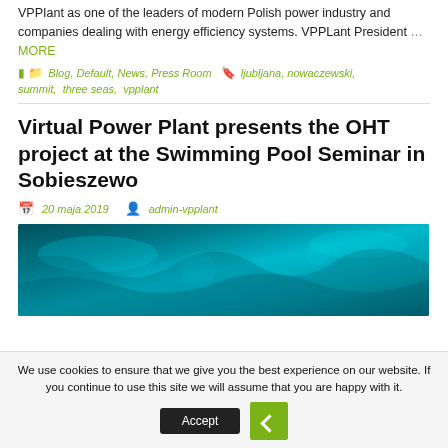VPPIant as one of the leaders of modern Polish power industry and companies dealing with energy efficiency systems. VPPLant President … MORE
Blog, Default, News, Press Room   ljubljana, nowaczewski, summit, three seas, vpplant
Virtual Power Plant presents the OHT project at the Swimming Pool Seminar in Sobieszewo
20 maja 2019   admin-vpplant
[Figure (photo): Teal/turquoise swimming pool water aerial photo]
We use cookies to ensure that we give you the best experience on our website. If you continue to use this site we will assume that you are happy with it.